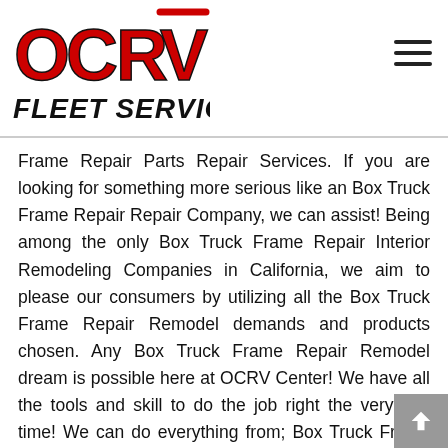[Figure (logo): OCRV Fleet Services logo — red and black letters OCRV above bold black italic text FLEET SERVICES]
Frame Repair Parts Repair Services. If you are looking for something more serious like an Box Truck Frame Repair Repair Company, we can assist! Being among the only Box Truck Frame Repair Interior Remodeling Companies in California, we aim to please our consumers by utilizing all the Box Truck Frame Repair Remodel demands and products chosen. Any Box Truck Frame Repair Remodel dream is possible here at OCRV Center! We have all the tools and skill to do the job right the very first time! We can do everything from; Box Truck Frame Repair Dent Repair, Box Truck Frame Repair Frame Repair, Box Truck Frame Repair...